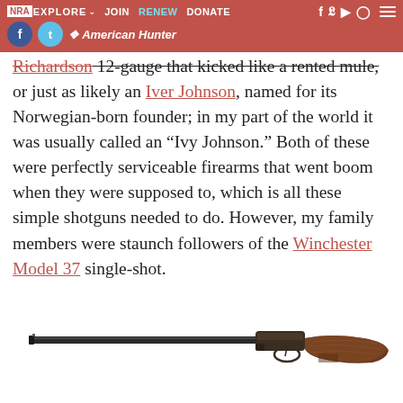NRA EXPLORE | JOIN | RENEW | DONATE | American Hunter
Richardson 12-gauge that kicked like a rented mule, or just as likely an Iver Johnson, named for its Norwegian-born founder; in my part of the world it was usually called an "Ivy Johnson." Both of these were perfectly serviceable firearms that went boom when they were supposed to, which is all these simple shotguns needed to do. However, my family members were staunch followers of the Winchester Model 37 single-shot.
[Figure (photo): A single-shot shotgun (Winchester Model 37) with a dark barrel and wooden stock, shown in profile against a white background.]
Winchester made the Model 37 from 1936 to 1963